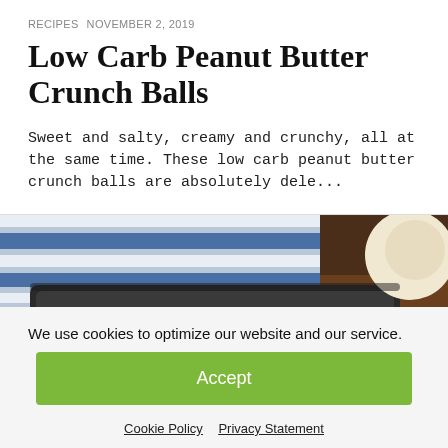RECIPES  NOVEMBER 2, 2019
Low Carb Peanut Butter Crunch Balls
Sweet and salty, creamy and crunchy, all at the same time. These low carb peanut butter crunch balls are absolutely dele...
[Figure (photo): Close-up photo of a dark baking tray with peanut butter balls, a striped kitchen towel, and a round bowl in the upper right corner.]
We use cookies to optimize our website and our service.
Accept
Cookie Policy   Privacy Statement